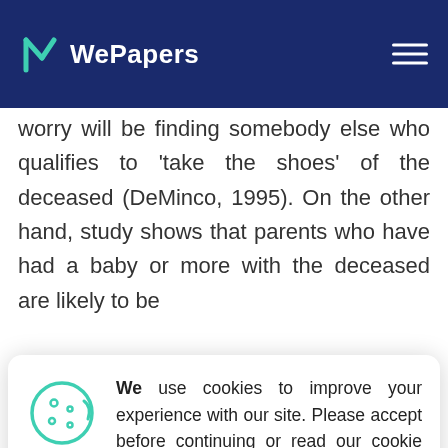WePapers
worry will be finding somebody else who qualifies to 'take the shoes' of the deceased (DeMinco, 1995). On the other hand, study shows that parents who have had a baby or more with the deceased are likely to be
[Figure (screenshot): Cookie consent popup with cookie icon, text 'We use cookies to improve your experience with our site. Please accept before continuing or read our cookie policy here.' and an ACCEPT button]
parenting which has many negative consequences for the children (DeMinco, 1995). Notably, the extent of consequences depends on a number of things. First, young adults might blame themselves for failing to